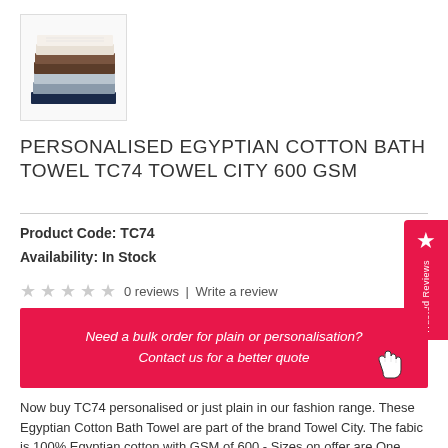[Figure (photo): Stack of folded towels in multiple colors including white, brown, grey, and dark navy blue]
PERSONALISED EGYPTIAN COTTON BATH TOWEL TC74 TOWEL CITY 600 GSM
Product Code: TC74
Availability: In Stock
0 reviews | Write a review
Need a bulk order for plain or personalisation? Contact us for a better quote
Now buy TC74 personalised or just plain in our fashion range. These Egyptian Cotton Bath Towel are part of the brand Towel City. The fabic is 100% Egyptian cotton with GSM of 600 - Sizes on offer are One Size